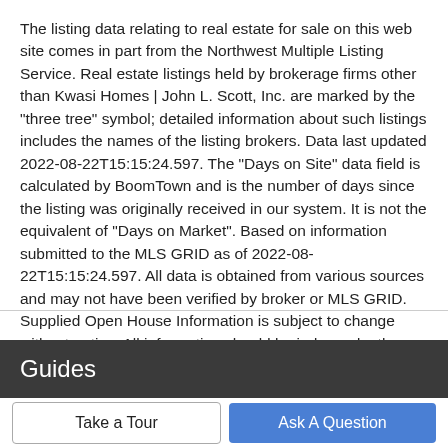The listing data relating to real estate for sale on this web site comes in part from the Northwest Multiple Listing Service. Real estate listings held by brokerage firms other than Kwasi Homes | John L. Scott, Inc. are marked by the "three tree" symbol; detailed information about such listings includes the names of the listing brokers. Data last updated 2022-08-22T15:15:24.597. The "Days on Site" data field is calculated by BoomTown and is the number of days since the listing was originally received in our system. It is not the equivalent of "Days on Market". Based on information submitted to the MLS GRID as of 2022-08-22T15:15:24.597. All data is obtained from various sources and may not have been verified by broker or MLS GRID. Supplied Open House Information is subject to change without notice. All information should be independently reviewed and verified for accuracy. Properties may or may not be listed by the office/agent presenting the information.
Guides
Take a Tour
Ask A Question